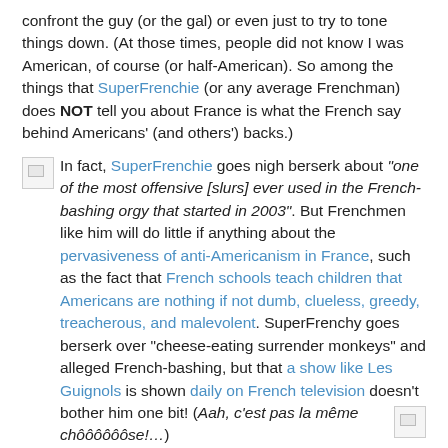confront the guy (or the gal) or even just to try to tone things down. (At those times, people did not know I was American, of course (or half-American). So among the things that SuperFrenchie (or any average Frenchman) does NOT tell you about France is what the French say behind Americans' (and others') backs.)
In fact, SuperFrenchie goes nigh berserk about "one of the most offensive [slurs] ever used in the French-bashing orgy that started in 2003". But Frenchmen like him will do little if anything about the pervasiveness of anti-Americanism in France, such as the fact that French schools teach children that Americans are nothing if not dumb, clueless, greedy, treacherous, and malevolent. SuperFrenchy goes berserk over "cheese-eating surrender monkeys" and alleged French-bashing, but that a show like Les Guignols is shown daily on French television doesn't bother him one bit! (Aah, c'est pas la même chôôôôôôse!…)
SuperFrenchie has complained about books by American authors hostile to France. However, in France